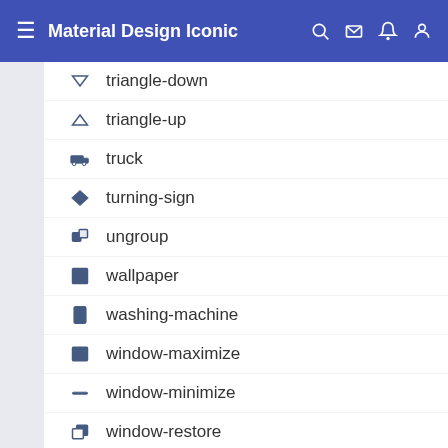Material Design Iconic
triangle-down
triangle-up
truck
turning-sign
ungroup
wallpaper
washing-machine
window-maximize
window-minimize
window-restore
wrench